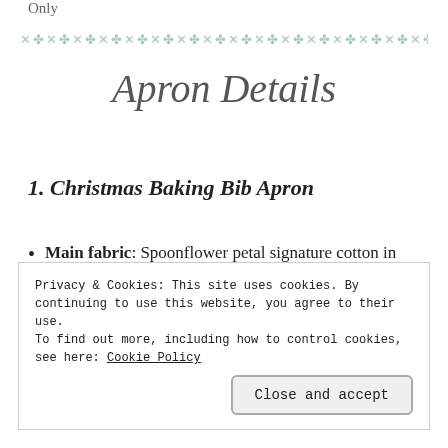Only
Apron Details
1. Christmas Baking Bib Apron
Main fabric: Spoonflower petal signature cotton in Baking Gingerbread by scarlette_soleil
Privacy & Cookies: This site uses cookies. By continuing to use this website, you agree to their use. To find out more, including how to control cookies, see here: Cookie Policy
Close and accept